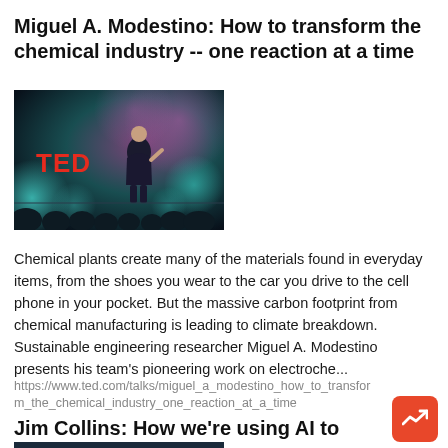Miguel A. Modestino: How to transform the chemical industry -- one reaction at a time
[Figure (photo): TED talk stage with speaker standing at a podium in front of a teal/pink background with TED logo visible in red letters, audience silhouettes in foreground]
Chemical plants create many of the materials found in everyday items, from the shoes you wear to the car you drive to the cell phone in your pocket. But the massive carbon footprint from chemical manufacturing is leading to climate breakdown. Sustainable engineering researcher Miguel A. Modestino presents his team's pioneering work on electroche...
https://www.ted.com/talks/miguel_a_modestino_how_to_transform_the_chemical_industry_one_reaction_at_a_time
Jim Collins: How we're using AI to discover new antibiotics
[Figure (photo): Partial view of a man's face (Jim Collins) against a dark background with blurred screens or monitors behind him]